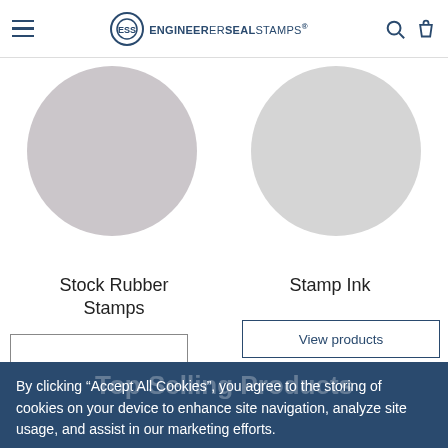ENGINEERERSEALSTAMPS
[Figure (illustration): Two product category circles: left is a darker gray circle for Stock Rubber Stamps, right is a lighter gray circle for Stamp Ink]
Stock Rubber Stamps
Stamp Ink
View products
By clicking “Accept All Cookies”, you agree to the storing of cookies on your device to enhance site navigation, analyze site usage, and assist in our marketing efforts.
Accept All Cookies
Top Selling Products